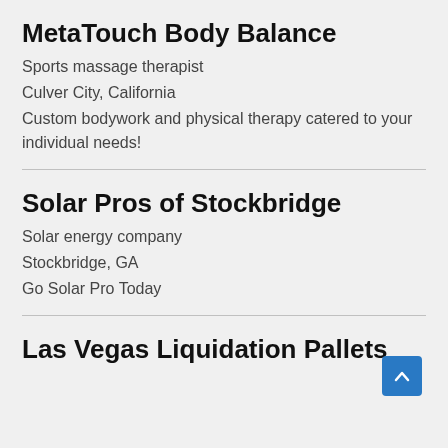MetaTouch Body Balance
Sports massage therapist
Culver City, California
Custom bodywork and physical therapy catered to your individual needs!
Solar Pros of Stockbridge
Solar energy company
Stockbridge, GA
Go Solar Pro Today
Las Vegas Liquidation Pallets